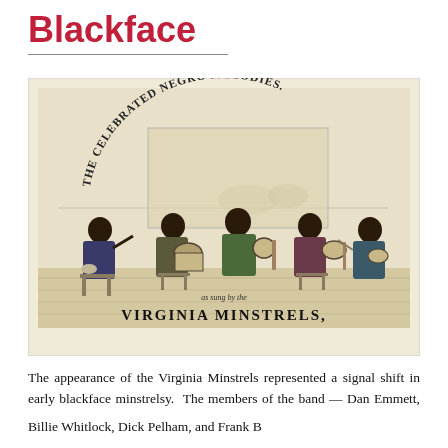Blackface
[Figure (illustration): Historical lithograph illustration titled 'The Celebrated Negro Melodies as sung by the Virginia Minstrels,' showing several blackface minstrel performers seated and playing instruments on a stage, with a landscape background. Text at bottom reads 'VIRGINIA MINSTRELS,']
The appearance of the Virginia Minstrels represented a signal shift in early blackface minstrelsy. The members of the band — Dan Emmett, Billie Whitlock, Dick Pelham, and Frank Brower —